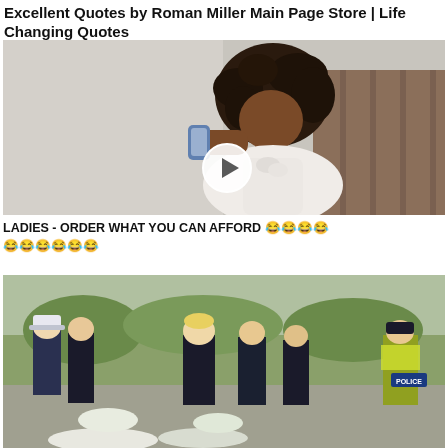Excellent Quotes by Roman Miller Main Page Store | Life Changing Quotes
[Figure (photo): A woman with curly dark hair talking on a phone, sitting in a chair, wearing a white blouse. A play button overlay is visible in the center of the image.]
LADIES - ORDER WHAT YOU CAN AFFORD 😂😂😂😂😂😂😂😂😂😂
[Figure (photo): Several men in dark suits, including political figures, walking outdoors carrying white flowers. A police officer in high-visibility jacket is visible on the right. A 'POLICE' label is visible.]